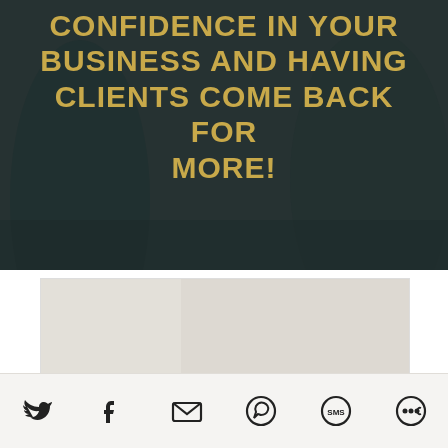CONFIDENCE IN YOUR BUSINESS AND HAVING CLIENTS COME BACK FOR MORE!
[Figure (photo): Screenshot of a website showing a woman with short blonde hair and green earrings, with a 'CLICK TO PLAY' video overlay bar, and a cookie consent popup overlaid on the lower left.]
We use cookies on our website to enhance your browsing experience. If you continue to use our website, we assume that you are happy for us to do this. To understand about how we use cookies or amend your preferences, please see our privacy policy.
Social share icons: Twitter, Facebook, Email, WhatsApp, SMS, other